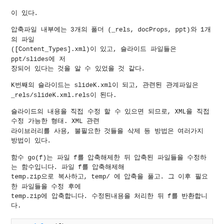이 있다.
압축파일 내부에는 3개의 폴더 (_rels, docProps, ppt)와 1개의 파일 ([Content_Types].xml)이 있고, 슬라이드 파일들은 ppt/slides에 저장되어 있다는 것을 알 수 있었을 것 같다.
K번째의 슬라이드는 slideK.xml이 되고, 관련된 관계파일은 _rels/slideK.xml.rels이 된다.
슬라이드의 내용을 직접 수정 하기로 했으므로, XML을 직접수정 가능한 형태. XML 관련 라이브러리를 사용, 불필요한 것들의 삭제 등 방법은 여러가지 방법이 있다.
함수 go(f)는 파일 f를 압축해제한 뒤 압축된 파일들을 수정하는 함수입니다. 파일 f를 압축해제해 temp.zip으로 복사하고, temp/ 에 압축을 풀고. 그 이후 필요한 파일들을 수정 후에 temp.zip에 압축합니다. 수정된내용을 처리한 뒤 f를 반환합니다.
def go(f):
# pptx -> zip